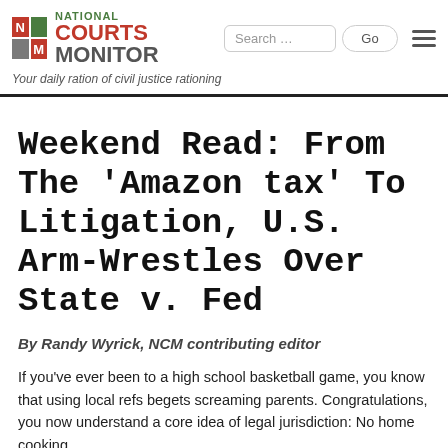NATIONAL COURTS MONITOR — Your daily ration of civil justice rationing
Weekend Read: From The 'Amazon tax' To Litigation, U.S. Arm-Wrestles Over State v. Fed
By Randy Wyrick, NCM contributing editor
If you've ever been to a high school basketball game, you know that using local refs begets screaming parents. Congratulations, you now understand a core idea of legal jurisdiction: No home cooking.